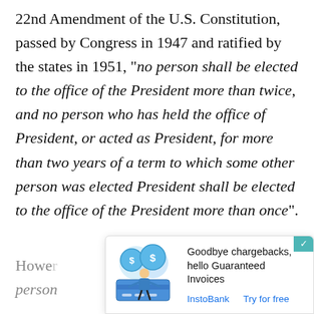22nd Amendment of the U.S. Constitution, passed by Congress in 1947 and ratified by the states in 1951, “no person shall be elected to the office of the President more than twice, and no person who has held the office of President, or acted as President, for more than two years of a term to which some other person was elected President shall be elected to the office of the President more than once”.
However ... any person ... is ...
[Figure (illustration): Advertisement overlay with illustration of a person with coins and a credit card, headline 'Goodbye chargebacks, hello Guaranteed Invoices', with InstoBank and Try for free links.]